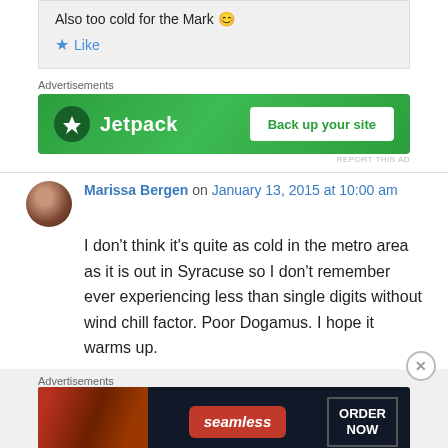Also too cold for the Mark 😊
★ Like
Advertisements
[Figure (illustration): Jetpack advertisement banner with green background, Jetpack logo on left and 'Back up your site' button on right]
REPORT THIS AD
Marissa Bergen on January 13, 2015 at 10:00 am
I don't think it's quite as cold in the metro area as it is out in Syracuse so I don't remember ever experiencing less than single digits without wind chill factor. Poor Dogamus. I hope it warms up.
Advertisements
[Figure (illustration): Seamless food delivery advertisement with pizza image, Seamless logo, and ORDER NOW button]